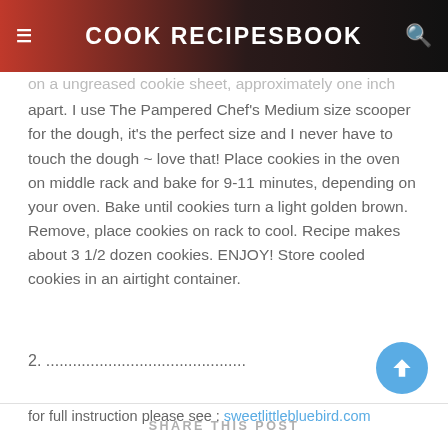COOK RECIPESBOOK
on a ungreased cookie sheet, approximately one inch apart.  I use The Pampered Chef's Medium size scooper for the dough, it's the perfect size and I never have to touch the dough ~ love that! Place cookies in the oven on middle rack and bake for 9-11 minutes, depending on your oven. Bake until cookies turn a light golden brown. Remove, place cookies on rack to cool. Recipe makes about 3 1/2 dozen cookies. ENJOY! Store cooled cookies in an airtight container.
2.  .............................................
for full instruction please see : sweetlittlebluebird.com
SHARE THIS POST